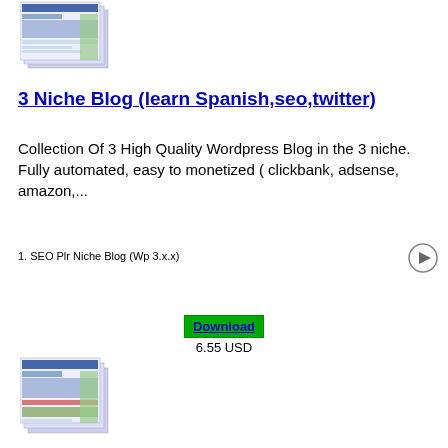[Figure (screenshot): Product screenshot showing stacked blog website thumbnails at top]
3 Niche Blog (learn Spanish,seo,twitter)
Collection Of 3 High Quality Wordpress Blog in the 3 niche. Fully automated, easy to monetized ( clickbank, adsense, amazon,...
1. SEO Plr Niche Blog (Wp 3.x.x)
Download
6.55 USD
[Figure (screenshot): Product screenshot showing stacked blog website thumbnails at bottom]